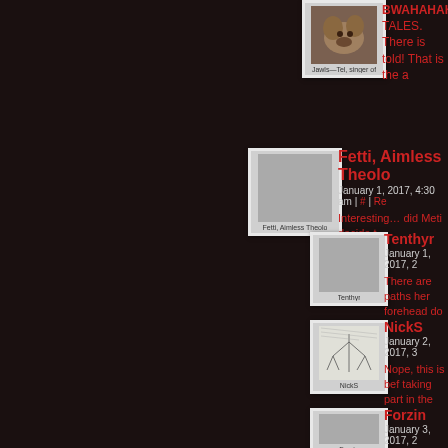[Figure (photo): Polaroid-style avatar photo of Jawls-Tel, singer, partially visible at top]
BWAHAHAHAHAH... TALES. There is told! That is the a
[Figure (photo): Polaroid-style placeholder avatar for Fetti, Aimless Theolo]
Fetti, Aimless Theolo
January 1, 2017, 4:30 am | # | Re
Interesting… did Meti decide t
[Figure (photo): Polaroid-style placeholder avatar for Tenthyr]
Tenthyr
January 1, 2017, 2
There are paths her forehead do
[Figure (photo): Polaroid-style avatar with tree/network diagram for NickS]
NickS
January 2, 2017, 3
Nope, this is bef taking part in the
[Figure (photo): Polaroid-style placeholder avatar for Forzin]
Forzin
January 3, 2017, 2
Honestly, from w surrounded by D noodles. Remem